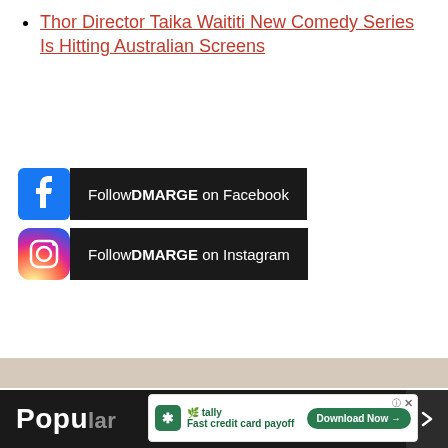Thor Director Taika Waititi New Comedy Series Is Hitting Australian Screens
[Figure (logo): Facebook icon followed by black bar reading Follow DMARGE on Facebook]
[Figure (logo): Instagram icon followed by black bar reading Follow DMARGE on Instagram]
[Figure (screenshot): Tally ad banner: Fast credit card payoff, Download Now button]
Popu[lar] E[ditor's Picks]